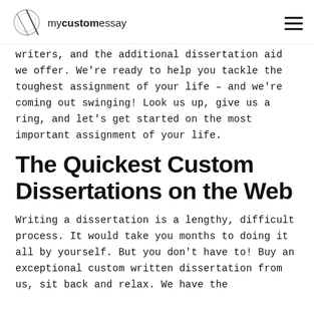mycustomessay
writers, and the additional dissertation aid we offer. We're ready to help you tackle the toughest assignment of your life – and we're coming out swinging! Look us up, give us a ring, and let's get started on the most important assignment of your life.
The Quickest Custom Dissertations on the Web
Writing a dissertation is a lengthy, difficult process. It would take you months to doing it all by yourself. But you don't have to! Buy an exceptional custom written dissertation from us, sit back and relax. We have the